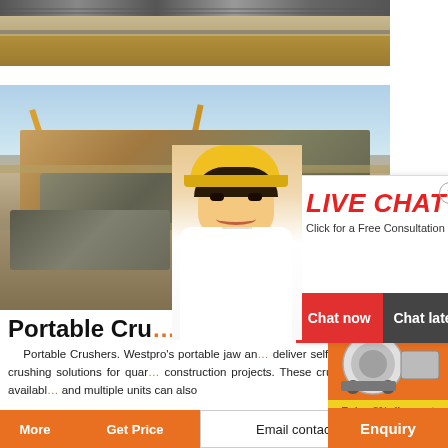[Figure (photo): Top strip photo showing railway tracks or conveyor machinery at a construction/mining site]
[Figure (photo): Construction site with excavators and crushing machinery, earthmoving equipment at a quarry or mining operation]
[Figure (photo): Live chat popup overlay showing a person in yellow hard hat with 'LIVE CHAT - Click for a Free Consultation' and Chat now / Chat later buttons]
Portable Cru...
Portable Crushers. Westpro's portable jaw and... deliver self-contained crushing solutions for quar... construction projects. These crushers are availab... and multiple units can also
[Figure (screenshot): Right sidebar with orange background showing images of crushing/milling equipment machines, a yellow '3% discount' banner, and 'Click to Chat' button]
Enjoy 3% discount
Click to Chat
Enquiry
More
Get Price
Email contact